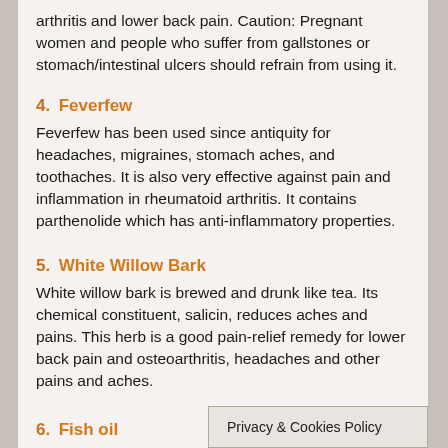arthritis and lower back pain. Caution: Pregnant women and people who suffer from gallstones or stomach/intestinal ulcers should refrain from using it.
4. Feverfew
Feverfew has been used since antiquity for headaches, migraines, stomach aches, and toothaches. It is also very effective against pain and inflammation in rheumatoid arthritis. It contains parthenolide which has anti-inflammatory properties.
5. White Willow Bark
White willow bark is brewed and drunk like tea. Its chemical constituent, salicin, reduces aches and pains. This herb is a good pain-relief remedy for lower back pain and osteoarthritis, headaches and other pains and aches.
6. Fish oil
Privacy & Cookies Policy